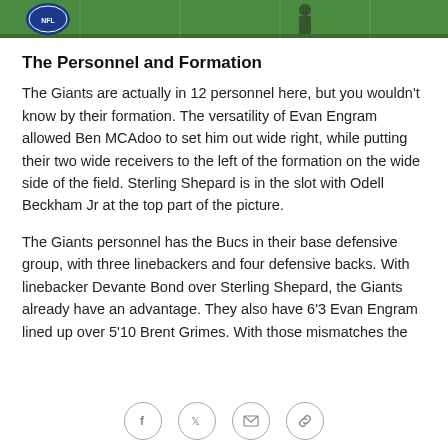[Figure (photo): Top strip of an NFL football field photo, green turf visible with NFL logo and player silhouette]
The Personnel and Formation
The Giants are actually in 12 personnel here, but you wouldn't know by their formation. The versatility of Evan Engram allowed Ben MCAdoo to set him out wide right, while putting their two wide receivers to the left of the formation on the wide side of the field. Sterling Shepard is in the slot with Odell Beckham Jr at the top part of the picture.
The Giants personnel has the Bucs in their base defensive group, with three linebackers and four defensive backs. With linebacker Devante Bond over Sterling Shepard, the Giants already have an advantage. They also have 6'3 Evan Engram lined up over 5'10 Brent Grimes. With those mismatches the